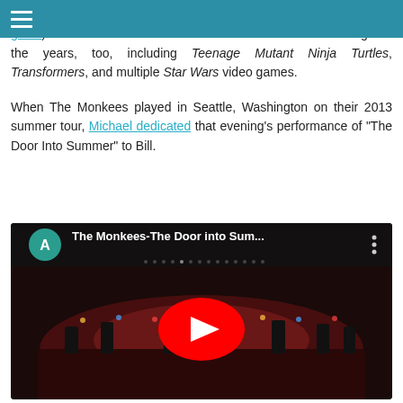on The Monkees ABC television program (see Electronic program guide). Martin lent his voice to various animated series throughout the years, too, including Teenage Mutant Ninja Turtles, Transformers, and multiple Star Wars video games.
When The Monkees played in Seattle, Washington on their 2013 summer tour, Michael dedicated that evening's performance of "The Door Into Summer" to Bill.
[Figure (screenshot): YouTube video embed showing The Monkees-The Door into Sum... with a play button overlay, avatar icon 'A', and three-dot menu. The video shows a concert performance on a stage with colorful lighting, multiple musicians visible.]